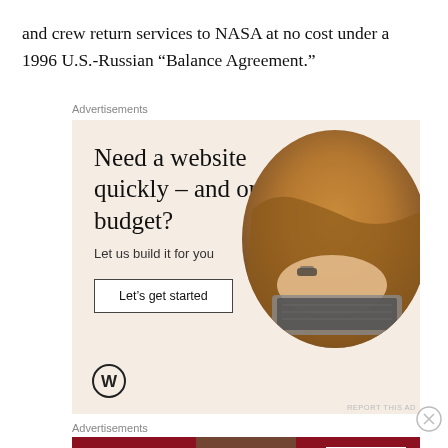and crew return services to NASA at no cost under a 1996 U.S.-Russian “Balance Agreement.”
Advertisements
[Figure (illustration): WordPress advertisement: 'Need a website quickly – and on a budget? Let us build it for you' with a 'Let's get started' button and a circular photo of hands on a laptop keyboard, with WordPress logo at bottom left.]
Advertisements
[Figure (illustration): Macy's advertisement: 'KISS BORING LIPS GOODBYE' with a woman's face showing red lips, and a 'SHOP NOW' button with Macy's star logo on a red background.]